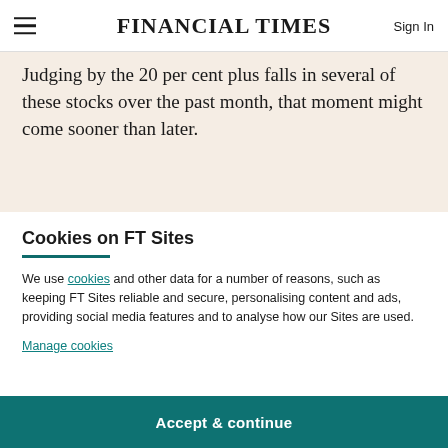FINANCIAL TIMES
Judging by the 20 per cent plus falls in several of these stocks over the past month, that moment might come sooner than later.
Cookies on FT Sites
We use cookies and other data for a number of reasons, such as keeping FT Sites reliable and secure, personalising content and ads, providing social media features and to analyse how our Sites are used.
Manage cookies
Accept & continue